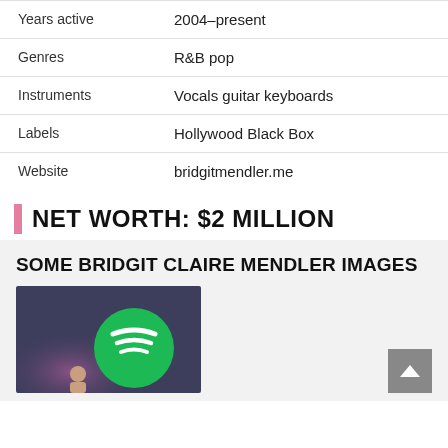|  |  |
| --- | --- |
| Years active | 2004–present |
| Genres | R&B pop |
| Instruments | Vocals guitar keyboards |
| Labels | Hollywood Black Box |
| Website | bridgitmendler.me |
NET WORTH: $2 MILLION
SOME BRIDGIT CLAIRE MENDLER IMAGES
[Figure (photo): Photo of Bridgit Mendler in front of a large Spotify logo on a wall]